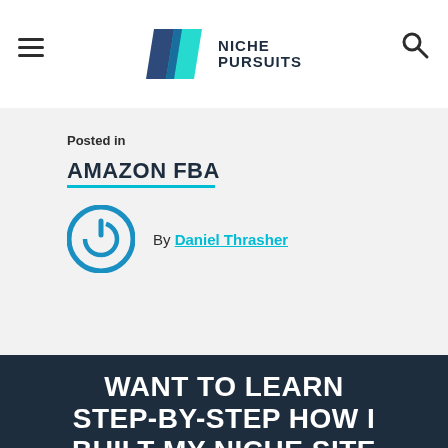Niche Pursuits
Posted in
AMAZON FBA
By Daniel Thrasher
WANT TO LEARN STEP-BY-STEP HOW I BUILT MY NICHE SITE EMPIRE UP TO A FULL-